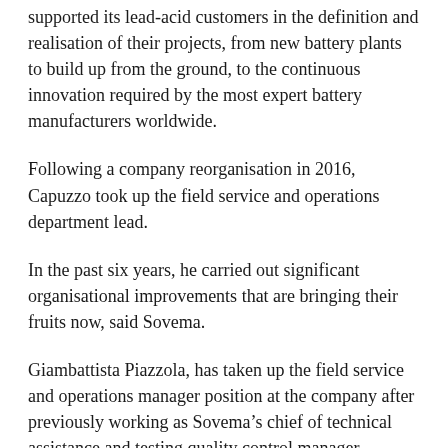supported its lead-acid customers in the definition and realisation of their projects, from new battery plants to build up from the ground, to the continuous innovation required by the most expert battery manufacturers worldwide.
Following a company reorganisation in 2016, Capuzzo took up the field service and operations department lead.
In the past six years, he carried out significant organisational improvements that are bringing their fruits now, said Sovema.
Giambattista Piazzola, has taken up the field service and operations manager position at the company after previously working as Sovema's chief of technical assistance and testing quality control manager.
Capuzzo said: “What I liked most in these past few years